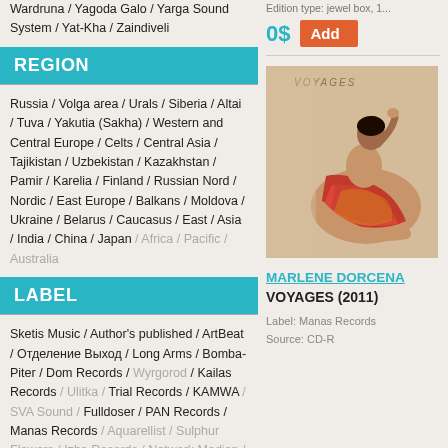Wardruna / Yagoda Galo / Yarga Sound System / Yat-Kha / Zaindiveli
Edition type: jewel box, 1...
0$
Add
REGION
Russia / Volga area / Urals / Siberia / Altai / Tuva / Yakutia (Sakha) / Western and Central Europe / Celts / Central Asia / Tajikistan / Uzbekistan / Kazakhstan / Pamir / Karelia / Finland / Russian Nord / Nordic / East Europe / Balkans / Moldova / Ukraine / Belarus / Caucasus / East / Asia / India / China / Japan / Africa / Pacific / Australia
LABEL
Sketis Music / Author's published / ArtBeat / Отделение Выход / Long Arms / Bomba-Piter / Dom Records / Wyrgorod / Kailas Records / Ulitka / Trial Records / KAMWA / SVA Sound / Fulldoser / PAN Records / Manas Records / Aquarellist / Sulphur Flowers / Izba Records / Network Medien / Fono
[Figure (photo): Album cover for VOYAGES (2011) by Marlene Dorcena showing a woman in a shimmering red/gold draped outfit seated against a sandy background, with 'VOYAGES' text overlay]
MARLENE DORCENA
VOYAGES (2011)
Label: Manas Records
Source: CD-R